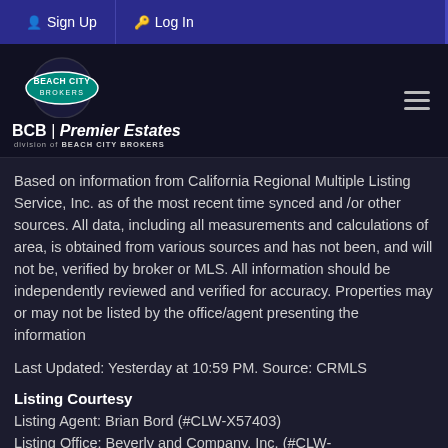Sign Up | Log In
[Figure (logo): Beach City Brokers logo with BCB Premier Estates branding and hamburger menu icon]
Based on information from California Regional Multiple Listing Service, Inc. as of the most recent time synced and /or other sources. All data, including all measurements and calculations of area, is obtained from various sources and has not been, and will not be, verified by broker or MLS. All information should be independently reviewed and verified for accuracy. Properties may or may not be listed by the office/agent presenting the information
Last Updated: Yesterday at 10:59 PM. Source: CRMLS
Listing Courtesy
Listing Agent: Brian Bord (#CLW-X57403)
Listing Office: Beverly and Company, Inc. (#CLW-